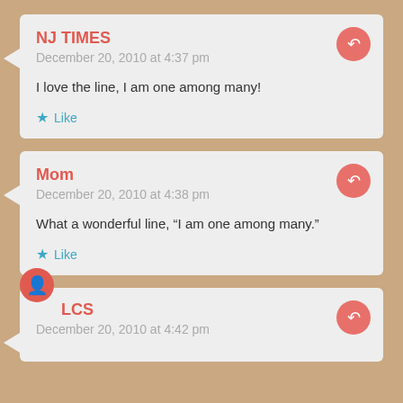NJ TIMES
December 20, 2010 at 4:37 pm

I love the line, I am one among many!

Like
Mom
December 20, 2010 at 4:38 pm

What a wonderful line, “I am one among many.”

Like
LCS
December 20, 2010 at 4:42 pm